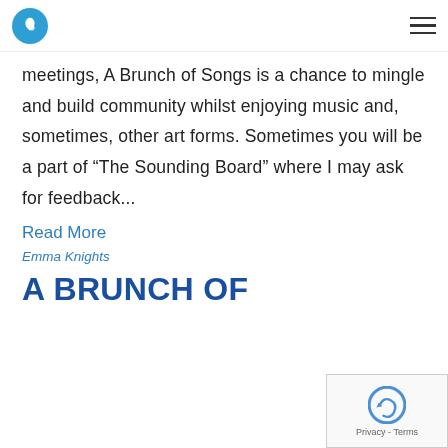Logo and navigation menu
meetings, A Brunch of Songs is a chance to mingle and build community whilst enjoying music and, sometimes, other art forms. Sometimes you will be a part of “The Sounding Board” where I may ask for feedback...
Read More
Emma Knights
A BRUNCH OF